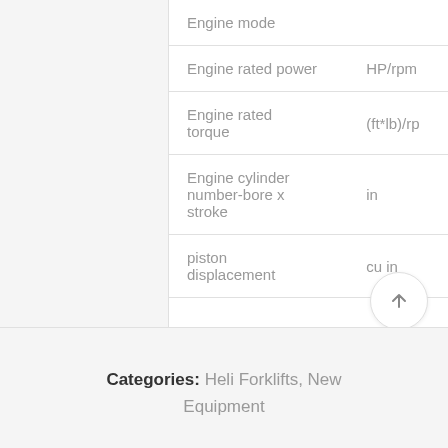| Specification | Unit |
| --- | --- |
| Engine mode |  |
| Engine rated power | HP/rpm |
| Engine rated torque | (ft*lb)/rpm |
| Engine cylinder number-bore x stroke | in |
| piston displacement | cu in |
Categories: Heli Forklifts, New Equipment